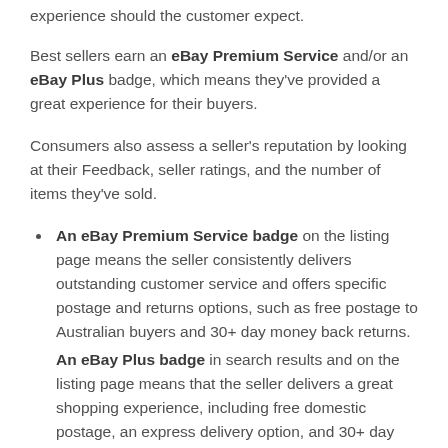experience should the customer expect.
Best sellers earn an eBay Premium Service and/or an eBay Plus badge, which means they've provided a great experience for their buyers.
Consumers also assess a seller's reputation by looking at their Feedback, seller ratings, and the number of items they've sold.
An eBay Premium Service badge on the listing page means the seller consistently delivers outstanding customer service and offers specific postage and returns options, such as free postage to Australian buyers and 30+ day money back returns.
An eBay Plus badge in search results and on the listing page means that the seller delivers a great shopping experience, including free domestic postage, an express delivery option, and 30+ day returns. And if you're an eBay Plus member, you'll